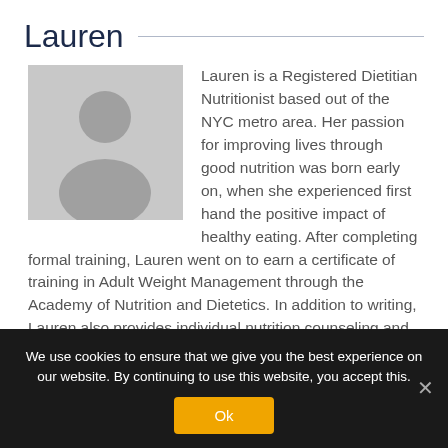Lauren
[Figure (illustration): Grey placeholder avatar icon showing a silhouette of a person (head and shoulders) on a grey background]
Lauren is a Registered Dietitian Nutritionist based out of the NYC metro area. Her passion for improving lives through good nutrition was born early on, when she experienced first hand the positive impact of healthy eating. After completing formal training, Lauren went on to earn a certificate of training in Adult Weight Management through the Academy of Nutrition and Dietetics. In addition to writing, Lauren also provides individual nutrition counseling and teaches nutrition classes through the VHPGO portal. When she isn't busy encouraging healthy habits in her VHP clients, she focuses on her toughest clients: her spouse & three daughters.
We use cookies to ensure that we give you the best experience on our website. By continuing to use this website, you accept this.